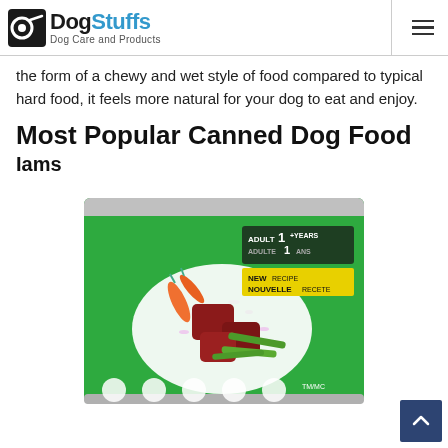DogStuffs Dog Care and Products
the form of a chewy and wet style of food compared to typical hard food, it feels more natural for your dog to eat and enjoy.
Most Popular Canned Dog Food
Iams
[Figure (photo): Green Iams canned dog food can with image of beef, carrots, green beans and rice on the label. Text reads: ADULT 1+ YEARS / ADULTE 1 ANS / NEW RECIPE / NOUVELLE RECETE / TM/MC]